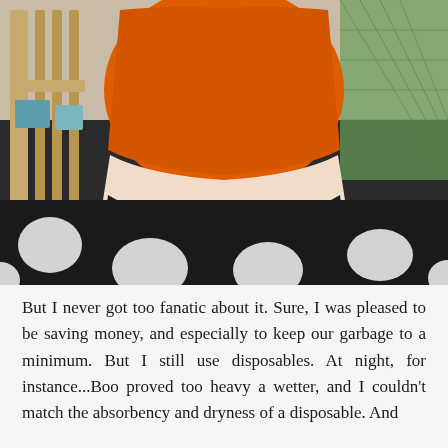[Figure (photo): A baby/toddler sitting on a black and white polka dot rug, wearing an orange shirt and a dark navy AppleCheeks cloth diaper. A wooden crib and green netting are visible in the background. The AppleCheeks label is visible on the back of the diaper.]
But I never got too fanatic about it. Sure, I was pleased to be saving money, and especially to keep our garbage to a minimum. But I still use disposables. At night, for instance...Boo proved too heavy a wetter, and I couldn't match the absorbency and dryness of a disposable. And